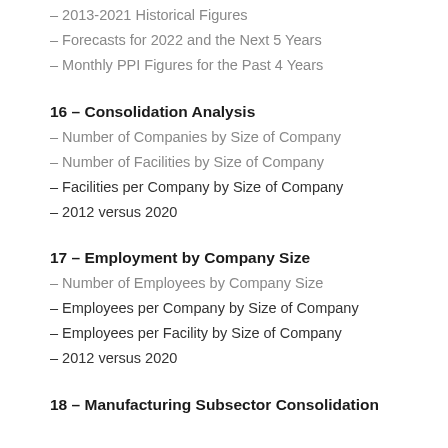– 2013-2021 Historical Figures
– Forecasts for 2022 and the Next 5 Years
– Monthly PPI Figures for the Past 4 Years
16 – Consolidation Analysis
– Number of Companies by Size of Company
– Number of Facilities by Size of Company
– Facilities per Company by Size of Company
– 2012 versus 2020
17 – Employment by Company Size
– Number of Employees by Company Size
– Employees per Company by Size of Company
– Employees per Facility by Size of Company
– 2012 versus 2020
18 – Manufacturing Subsector Consolidation